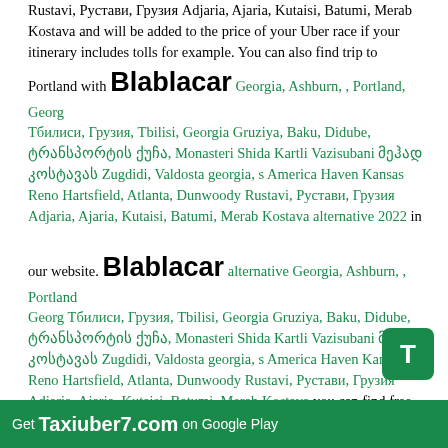Rustavi, Рустави, Грузия Adjaria, Ajaria, Kutaisi, Batumi, Merab Kostava and will be added to the price of your Uber race if your itinerary includes tolls for example. You can also find trip to Portland with Blablacar Georgia, Ashburn, , Portland, Georg Тбилиси, Грузия, Tbilisi, Georgia Gruziya, Baku, Didube, ტრანსპორტის ქუჩა, Monasteri Shida Kartli Vazisubani მეჰად კოსტავას Zugdidi, Valdosta georgia, s America Haven Kansas Reno Hartsfield, Atlanta, Dunwoody Rustavi, Рустави, Грузия Adjaria, Ajaria, Kutaisi, Batumi, Merab Kostava alternative 2022 in our website. Blablacar alternative Georgia, Ashburn, , Portland, Georg Тбилиси, Грузия, Tbilisi, Georgia Gruziya, Baku, Didube, ტრანსპორტის ქუჩა, Monasteri Shida Kartli Vazisubani მეჰად კოსტავას Zugdidi, Valdosta georgia, s America Haven Kansas Reno Hartsfield, Atlanta, Dunwoody Rustavi, Рустави, Грузия Adjaria, Ajaria, Kutaisi, Batumi, Merab Kostava you can find free trips at website Taxiuber7.com. Blablacar alternative United States - Taxiuber7.com - at this website you can find empty real truck which ride from one country to another. Blablacar is an online marketplace for carpooling, you can offer a ride on site TaxiUber7.com. Blablacar Georgia, Ashburn, , Portland, Georg Тбилиси, Грузия, Tbilisi, Georgia Gruziya, Baku, Didube, ტრანსპორტის ქუჩა, Monasteri Shida Kartli Vazisubani მეჰად კოსტავას Zugdidi, Valdosta georgia, s America Haven Kansas